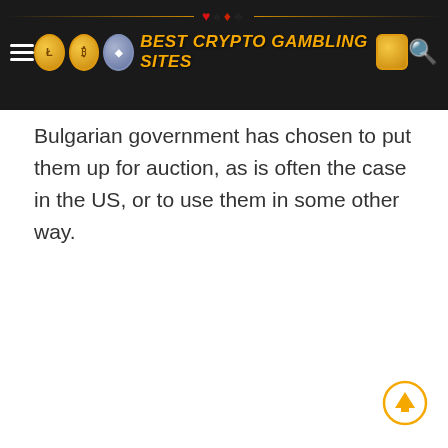BEST CRYPTO GAMBLING SITES
Bulgarian government has chosen to put them up for auction, as is often the case in the US, or to use them in some other way.